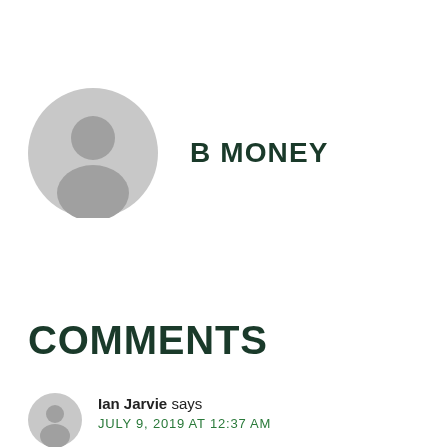[Figure (illustration): Generic user avatar icon — circular grey silhouette of a person, large size for author profile]
B MONEY
COMMENTS
[Figure (illustration): Generic user avatar icon — circular grey silhouette of a person, small size for comment author]
Ian Jarvie says
JULY 9, 2019 AT 12:37 AM